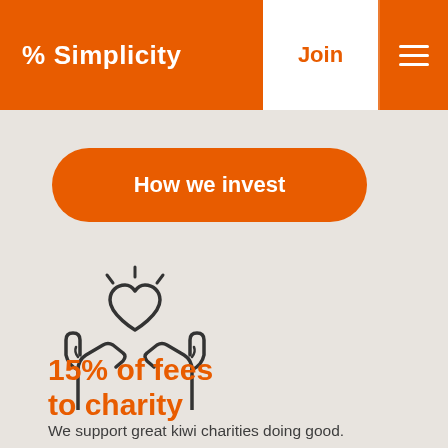% Simplicity | Join
How we invest
[Figure (illustration): Line-art icon of two hands cupping a heart shape with radiant lines above, symbolizing charity and giving]
15% of fees to charity
We support great kiwi charities doing good.